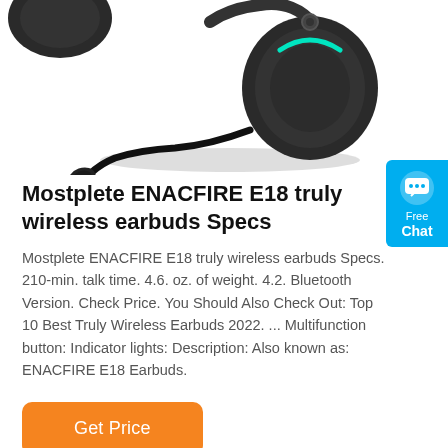[Figure (photo): Partial view of a black gaming headset with a flexible microphone boom arm, showing the ear cup and mic from below/side angle, with a soft shadow underneath on white background.]
Mostplete ENACFIRE E18 truly wireless earbuds Specs
Mostplete ENACFIRE E18 truly wireless earbuds Specs. 210-min. talk time. 4.6. oz. of weight. 4.2. Bluetooth Version. Check Price. You Should Also Check Out: Top 10 Best Truly Wireless Earbuds 2022. ... Multifunction button: Indicator lights: Description: Also known as: ENACFIRE E18 Earbuds.
Get Price